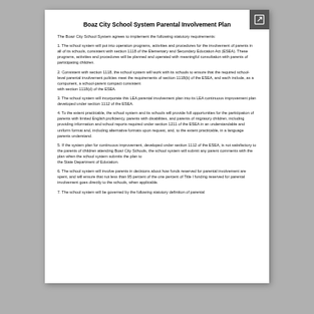Boaz City School System Parental Involvement Plan
The Boaz City School System agrees to implement the following statutory requirements:
1. The school system will put into operation programs, activities and procedures for the involvement of parents in all of its schools, consistent with section 1118 of the Elementary and Secondary Education Act (ESEA). These programs, activities and procedures will be planned and operated with meaningful consultation with parents of participating children.
2. Consistent with section 1118, the school system will work with its schools to ensure that the required school-level parental involvement policies meet the requirements of section 1118(b) of the ESEA, and each include, as a component, a school-parent compact consistent with section 1118(d) of the ESEA.
3. The school system will incorporate this LEA parental involvement plan into its LEA continuous improvement plan developed under section 1112 of the ESEA.
4. To the extent practicable, the school system and its schools will provide full opportunities for the participation of parents with limited English proficiency, parents with disabilities, and parents of migratory children, including providing information and school reports required under section 1211 of the ESEA in an understandable and uniform format and, including alternative formats upon request, and, to the extent practicable, in a language parents understand.
5. If the system plan for continuous improvement, developed under section 1112 of the ESEA, is not satisfactory to the parents of children attending Boaz City Schools, the school system will submit any parent comments with the plan when the school system submits the plan to the State Department of Education.
6. The school system will involve parents in decisions about how funds reserved for parental involvement are spent, and will ensure that not less than 95 percent of the one percent of Title I funding reserved for parental involvement goes directly to the schools, when applicable.
7. The school system will be governed by the following statutory definition of parental